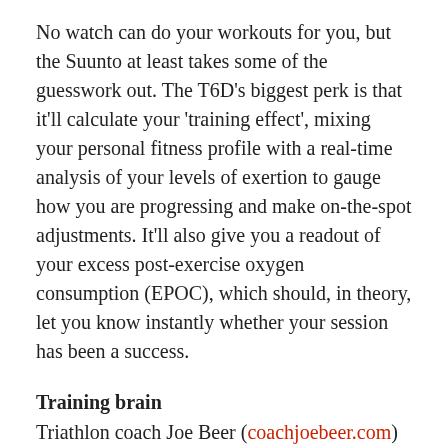No watch can do your workouts for you, but the Suunto at least takes some of the guesswork out. The T6D's biggest perk is that it'll calculate your 'training effect', mixing your personal fitness profile with a real-time analysis of your levels of exertion to gauge how you are progressing and make on-the-spot adjustments. It'll also give you a readout of your excess post-exercise oxygen consumption (EPOC), which should, in theory, let you know instantly whether your session has been a success.
Training brain
Triathlon coach Joe Beer (coachjoebeer.com) brings some science to the sweat.
Find your maximum heart rate